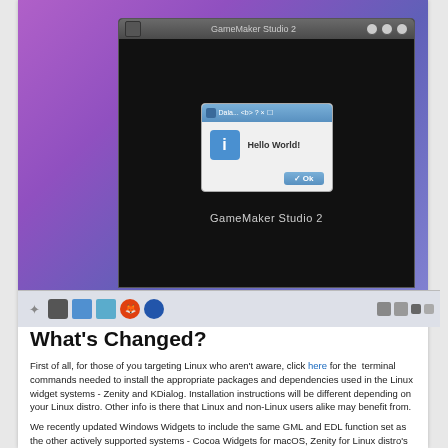[Figure (screenshot): Screenshot of a Linux desktop with a purple/blue geometric background. A dark application window is open (GameMaker Studio 2) showing a 'Hello World!' dialog box with an info icon and an OK button. The window has a standard title bar with close/minimize/maximize buttons.]
[Figure (screenshot): Linux taskbar/dock showing application icons including a grid app launcher, files manager, browser (Firefox), and GameMaker Studio 2 icon. Right side shows system tray icons.]
What's Changed?
First of all, for those of you targeting Linux who aren't aware, click here for the  terminal commands needed to install the appropriate packages and dependencies used in the Linux widget systems - Zenity and KDialog. Installation instructions will be different depending on your Linux distro. Other info is there that Linux and non-Linux users alike may benefit from.
We recently updated Windows Widgets to include the same GML and EDL function set as the other actively supported systems - Cocoa Widgets for macOS, Zenity for Linux distro's using GTK+ for windowing, and KDialog for Linux distro's using KDE for windowing. Windows Widgets also now has full LITE 8 support